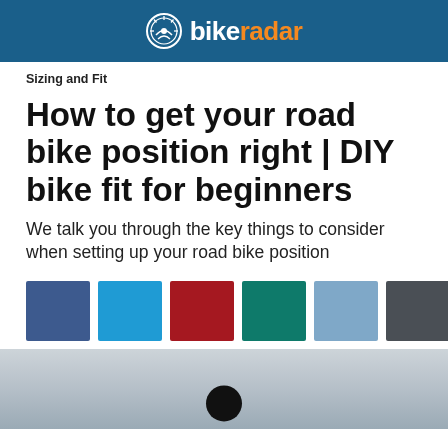bikeradar
Sizing and Fit
How to get your road bike position right | DIY bike fit for beginners
We talk you through the key things to consider when setting up your road bike position
[Figure (other): Six color swatches: dark blue, bright blue, dark red, teal, light blue, dark grey]
[Figure (photo): Partial image of a cyclist silhouetted against a sky background with a circular play button overlay]